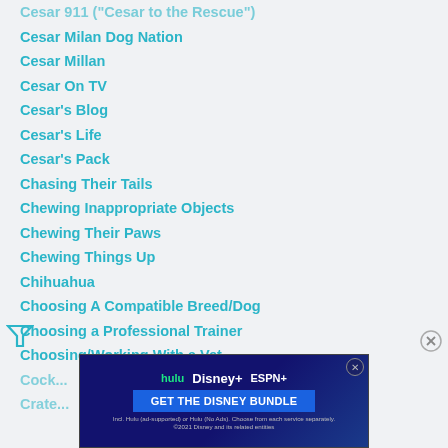Cesar Milan Dog Nation
Cesar Millan
Cesar On TV
Cesar's Blog
Cesar's Life
Cesar's Pack
Chasing Their Tails
Chewing Inappropriate Objects
Chewing Their Paws
Chewing Things Up
Chihuahua
Choosing A Compatible Breed/Dog
Choosing a Professional Trainer
Choosing/Working With a Vet
Cockerspaniel
Crate...
[Figure (screenshot): Advertisement banner for Disney Bundle (Hulu, Disney+, ESPN+) with blue background and GET THE DISNEY BUNDLE call to action]